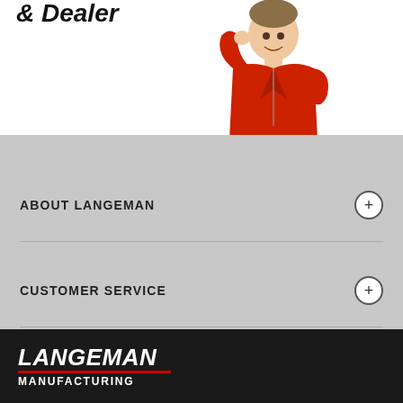& Dealer
[Figure (photo): Man in red uniform smiling and pointing to chin]
ABOUT LANGEMAN
CUSTOMER SERVICE
SECURITY & OTHER
[Figure (logo): MasterCard and VISA payment logos]
[Figure (logo): Langeman Manufacturing footer logo]